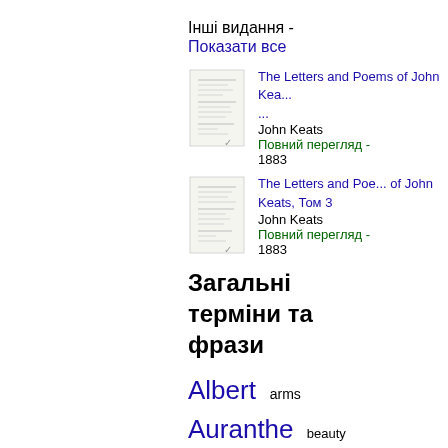Інші видання -
Показати все
[Figure (illustration): Small thumbnail image of a book page with text lines]
The Letters and Poems of John Kea...
John Keats
Повний перегляд -
1883
[Figure (illustration): Small thumbnail image of a book page with text lines]
The Letters and Poe... of John Keats, Том 3
John Keats
Повний перегляд -
1883
Загальні терміни та фрази
Albert  arms
Auranthe  beauty